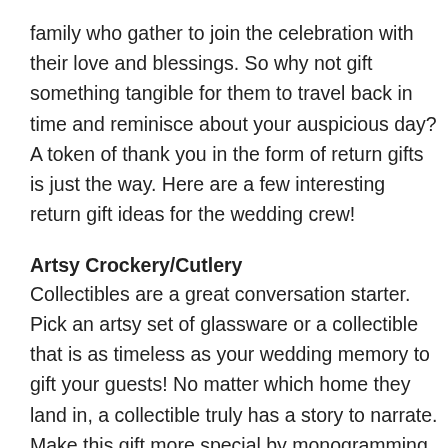family who gather to join the celebration with their love and blessings. So why not gift something tangible for them to travel back in time and reminisce about your auspicious day? A token of thank you in the form of return gifts is just the way. Here are a few interesting return gift ideas for the wedding crew!
Artsy Crockery/Cutlery
Collectibles are a great conversation starter. Pick an artsy set of glassware or a collectible that is as timeless as your wedding memory to gift your guests! No matter which home they land in, a collectible truly has a story to narrate. Make this gift more special by monogramming your initials on the gift.